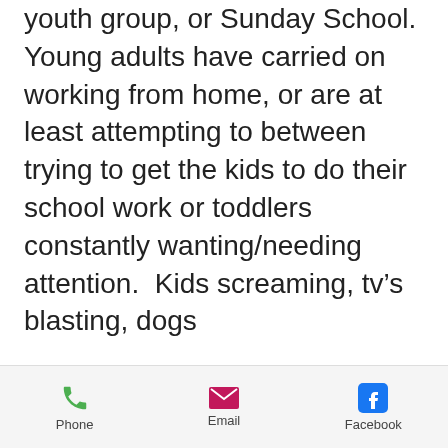youth group, or Sunday School. Young adults have carried on working from home, or are at least attempting to between trying to get the kids to do their school work or toddlers constantly wanting/needing attention.  Kids screaming, tv's blasting, dogs

barking! Let me get back to the quiet

sanctuary of the workplace.

We've become used to avoiding people. We know how to keep our distance. How's that going to affect those who warmly want to welcome
Phone  Email  Facebook